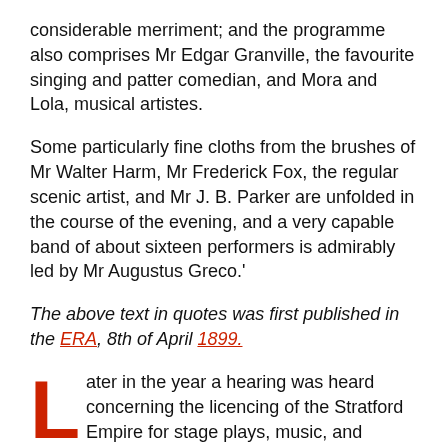considerable merriment; and the programme also comprises Mr Edgar Granville, the favourite singing and patter comedian, and Mora and Lola, musical artistes.
Some particularly fine cloths from the brushes of Mr Walter Harm, Mr Frederick Fox, the regular scenic artist, and Mr J. B. Parker are unfolded in the course of the evening, and a very capable band of about sixteen performers is admirably led by Mr Augustus Greco.'
The above text in quotes was first published in the ERA, 8th of April 1899.
Later in the year a hearing was heard concerning the licencing of the Stratford Empire for stage plays, music, and dancing, and also for a licence to sell alcohol, a report of the application, carried in the ERA of the 7th of October 1899 reads:- 'Mr G. A. Riddell applied to the West Ham Town Council at a special meeting on Tuesday, for the renewal of the licence for stage plays and music and dancing, made by Mr Oswald Stoll, for the